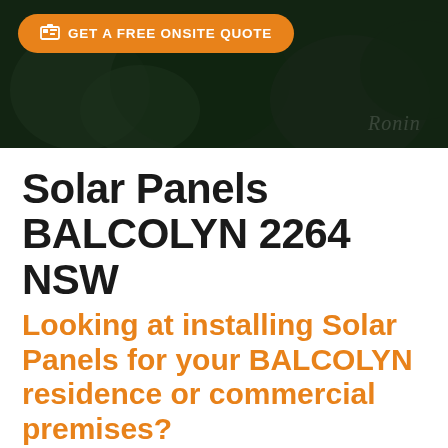[Figure (photo): Dark green foliage/garden background hero image with orange CTA button overlay]
Solar Panels BALCOLYN 2264 NSW
Looking at installing Solar Panels for your BALCOLYN residence or commercial premises?